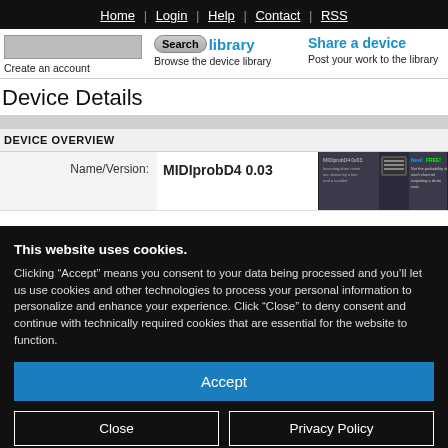Home | Login | Help | Contact | RSS
Search | e Library | Share a device | Create an account | Browse the device library | Post your work to the library
Device Details
DEVICE OVERVIEW
| Name/Version: |
| --- |
| MIDIprobD4 0.03 |
[Figure (screenshot): MIDIprobD4 0v03 device preview image with text: New! FREE!]
This website uses cookies.
Clicking “Accept” means you consent to your data being processed and you’ll let us use cookies and other technologies to process your personal information to personalize and enhance your experience. Click “Close” to deny consent and continue with technically required cookies that are essential for the website to function.
Accept
Close
Privacy Policy